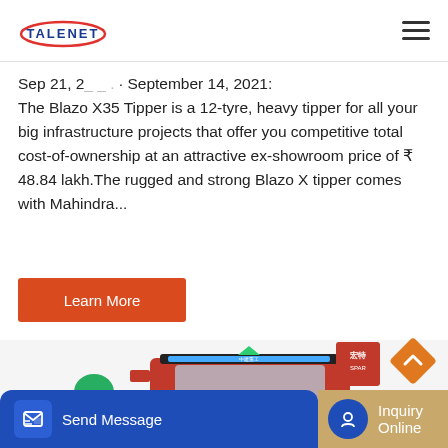TALENET
Sep 21, 2... · September 14, 2021:The Blazo X35 Tipper is a 12-tyre, heavy tipper for all your big infrastructure projects that offer you competitive total cost-of-ownership at an attractive ex-showroom price of ₹ 48.84 lakh.The rugged and strong Blazo X tipper comes with Mahindra...
[Figure (other): Learn More button — orange/red rectangular button with white text]
[Figure (photo): Front view of a red heavy truck/tipper with Chinese branding visible on the display bar]
[Figure (other): Bottom navigation bar with Send Message (blue) and Inquiry Online (tan/gold) sections, plus scroll-up diamond button]